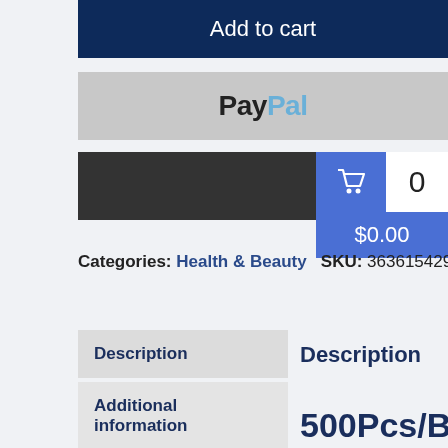[Figure (screenshot): Add to cart dark navy button]
[Figure (screenshot): PayPal payment button in grey]
[Figure (screenshot): Credit card payment button in dark grey with card icon]
[Figure (screenshot): Shopping cart widget showing 0 items and $0.00]
Categories: Health & Beauty   SKU: 363615429460
Description
Description
Additional information
500Pcs/Box